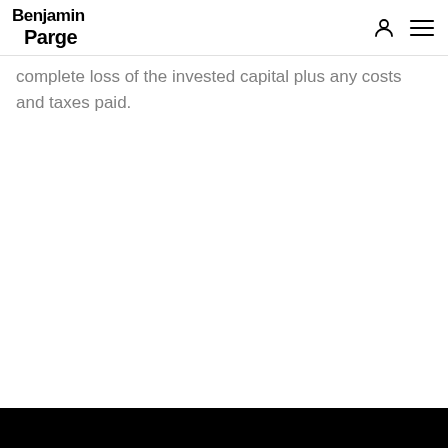Benjamin Parge
complete loss of the invested capital plus any costs and taxes paid.